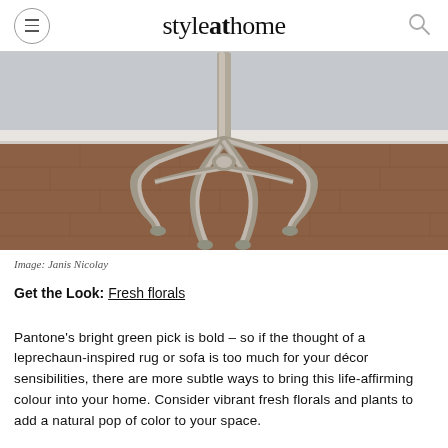styleathome
[Figure (photo): Bottom portion of a metal stand or plant stand with ornate curved legs, placed on wooden herringbone-patterned floor with a light grey wall in background.]
Image: Janis Nicolay
Get the Look: Fresh florals
Pantone's bright green pick is bold – so if the thought of a leprechaun-inspired rug or sofa is too much for your décor sensibilities, there are more subtle ways to bring this life-affirming colour into your home. Consider vibrant fresh florals and plants to add a natural pop of color to your space.